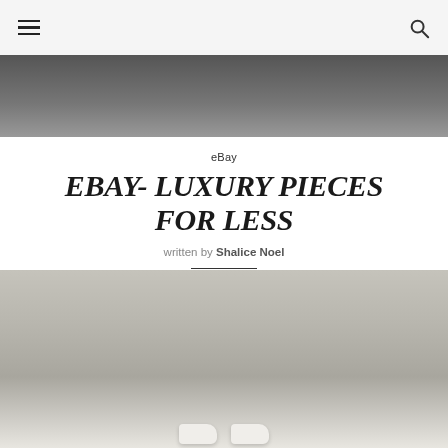[Figure (photo): Top portion of a fashion photo showing dark clothing against a light background]
eBay
EBAY- LUXURY PIECES FOR LESS
written by Shalice Noel
[Figure (photo): Overhead view of a weathered concrete or stone surface with white sneakers visible at the bottom edge]